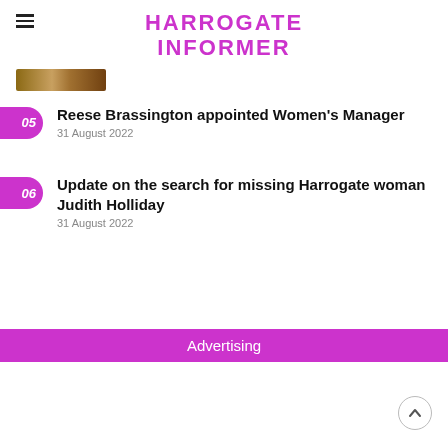HARROGATE INFORMER
[Figure (photo): Partial thumbnail image strip visible at top left]
05 Reese Brassington appointed Women's Manager — 31 August 2022
06 Update on the search for missing Harrogate woman Judith Holliday — 31 August 2022
Advertising
[Figure (other): Back to top arrow button, circular with upward chevron]